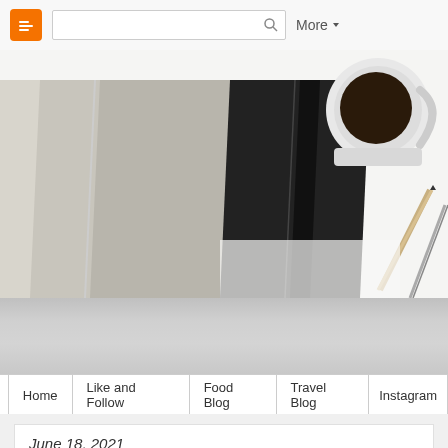Blogger navigation bar with search and More button
[Figure (photo): Top-down view of notebooks (light gray and black covers), a white mug with black coffee, a pencil, and a pen on a white surface]
[Figure (other): Gray gradient banner area below hero image, likely a blog title/header region]
Home | Like and Follow | Food Blog | Travel Blog | Instagram
June 18, 2021